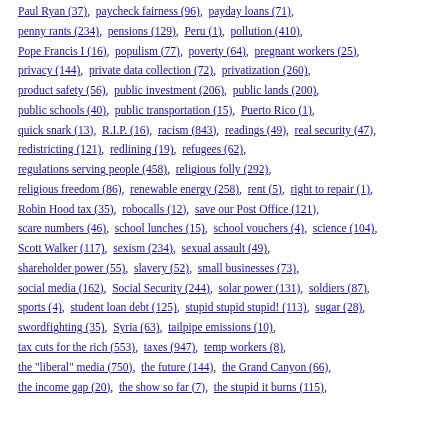Paul Ryan (37),  paycheck fairness (96),  payday loans (71),
penny rants (234),  pensions (129),  Peru (1),  pollution (410),
Pope Francis I (16),  populism (77),  poverty (64),  pregnant workers (25),
privacy (144),  private data collection (72),  privatization (260),
product safety (56),  public investment (206),  public lands (200),
public schools (40),  public transportation (15),  Puerto Rico (1),
quick snark (13),  R.I.P. (16),  racism (843),  readings (49),  real security (47),
redistricting (121),  redlining (19),  refugees (62),
regulations serving people (458),  religious folly (292),
religious freedom (86),  renewable energy (258),  rent (5),  right to repair (1),
Robin Hood tax (35),  robocalls (12),  save our Post Office (121),
scare numbers (46),  school lunches (15),  school vouchers (4),  science (104),
Scott Walker (117),  sexism (234),  sexual assault (49),
shareholder power (55),  slavery (52),  small businesses (73),
social media (162),  Social Security (244),  solar power (131),  soldiers (87),
sports (4),  student loan debt (125),  stupid stupid stupid! (113),  sugar (28),
swordfighting (35),  Syria (63),  tailpipe emissions (10),
tax cuts for the rich (553),  taxes (947),  temp workers (8),
the "liberal" media (750),  the future (144),  the Grand Canyon (66),
the income gap (20),  the show so far (7),  the stupid it burns (115),